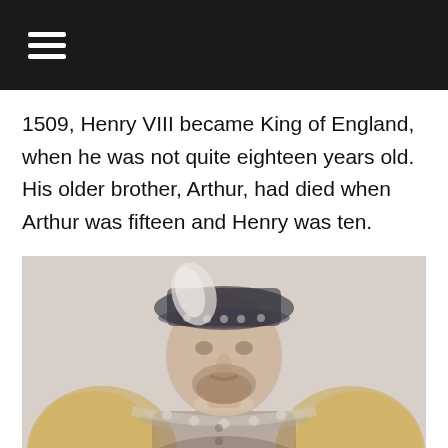☰
1509, Henry VIII became King of England, when he was not quite eighteen years old. His older brother, Arthur, had died when Arthur was fifteen and Henry was ten.
[Figure (photo): A faded portrait painting of Henry VIII, showing him wearing an ornate bejeweled doublet with gold sleeves and a decorated hat with a white feather. He has a beard and is facing forward.]